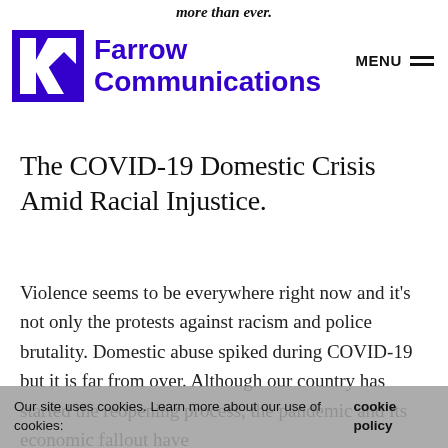more than ever. Farrow Communications MENU
The COVID-19 Domestic Crisis Amid Racial Injustice.
Violence seems to be everywhere right now and it's not only the protests against racism and police brutality. Domestic abuse spiked during COVID-19 but it is far from over. Although our country has started the reopening process, the pandemic and its economic fallout have
Our site uses cookies. Learn more about our use of cookies: cookie policy